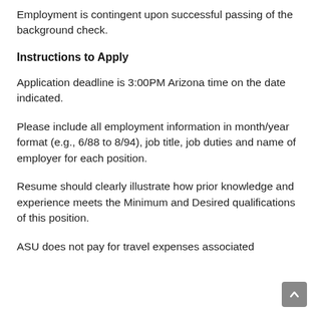Employment is contingent upon successful passing of the background check.
Instructions to Apply
Application deadline is 3:00PM Arizona time on the date indicated.
Please include all employment information in month/year format (e.g., 6/88 to 8/94), job title, job duties and name of employer for each position.
Resume should clearly illustrate how prior knowledge and experience meets the Minimum and Desired qualifications of this position.
ASU does not pay for travel expenses associated with interviews or any other part of the selection process.